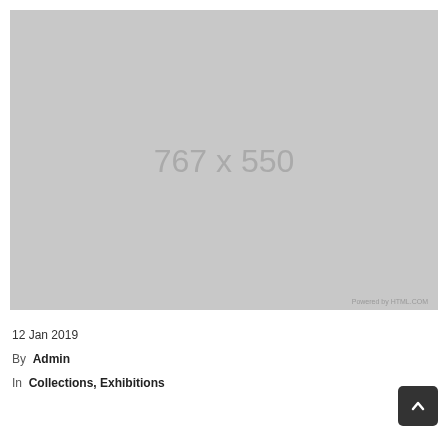[Figure (other): Placeholder image showing dimensions 767 x 550 with 'Powered by HTML.COM' watermark in bottom right]
12 Jan 2019
By  Admin
In  Collections, Exhibitions